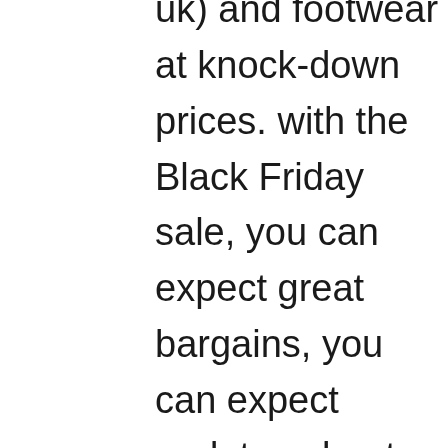uk) and footwear at knock-down prices. with the Black Friday sale, you can expect great bargains, you can expect updates about the Black Friday sale to include sports clothing, footwear and accessories. Where does JD ship from? All orders are shipped from the UK, orders placed on the JD UK website are for delivery to local addressees only. Does JD